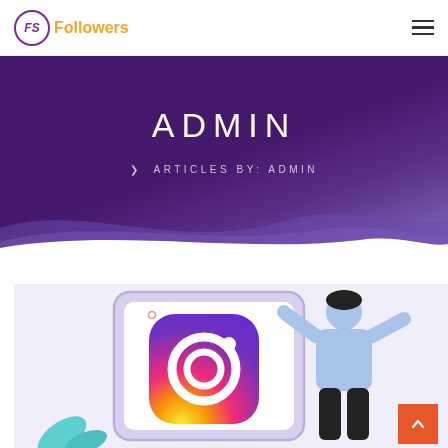FS Followers
ADMIN
> ARTICLES BY: ADMIN
[Figure (illustration): Illustration of a person standing next to a large Instagram logo on a smartphone screen, with decorative elements]